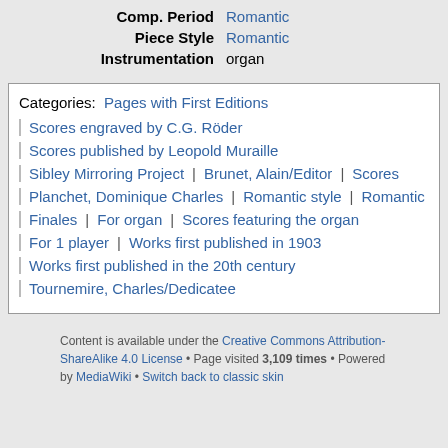| Comp. Period | Romantic |
| Piece Style | Romantic |
| Instrumentation | organ |
Categories: Pages with First Editions | Scores engraved by C.G. Röder | Scores published by Leopold Muraille | Sibley Mirroring Project | Brunet, Alain/Editor | Scores | Planchet, Dominique Charles | Romantic style | Romantic | Finales | For organ | Scores featuring the organ | For 1 player | Works first published in 1903 | Works first published in the 20th century | Tournemire, Charles/Dedicatee
Content is available under the Creative Commons Attribution-ShareAlike 4.0 License • Page visited 3,109 times • Powered by MediaWiki • Switch back to classic skin